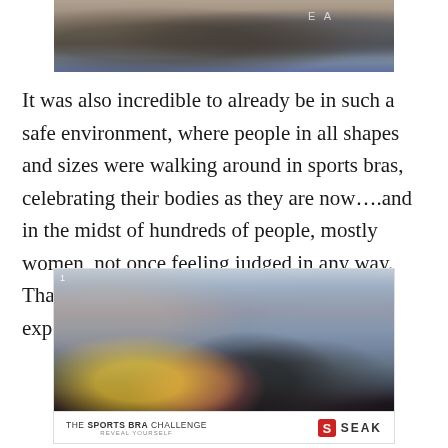[Figure (photo): Partial photo of people at an outdoor event, cropped at top of page showing figures against a backdrop with letters 'EA' visible]
It was also incredible to already be in such a safe environment, where people in all shapes and sizes were walking around in sports bras, celebrating their bodies as they are now….and in the midst of hundreds of people, mostly women, not once feeling judged in any way. That was pretty astounding! What an experience.
[Figure (photo): Group photo of four women posing together at The Sports Bra Challenge outdoor event in an urban setting with historic buildings in background. Bottom bar shows 'THE SPORTS BRA CHALLENGE — REVEAL YOURSELF' and SEAK FOUNDATION logo.]